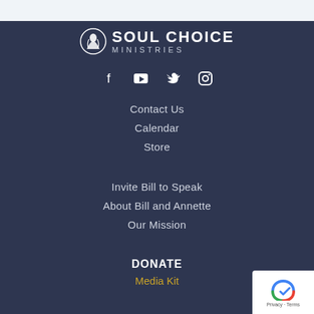[Figure (logo): Soul Choice Ministries logo with icon and text]
[Figure (infographic): Social media icons: Facebook, YouTube, Twitter, Instagram]
Contact Us
Calendar
Store
Invite Bill to Speak
About Bill and Annette
Our Mission
DONATE
Media Kit